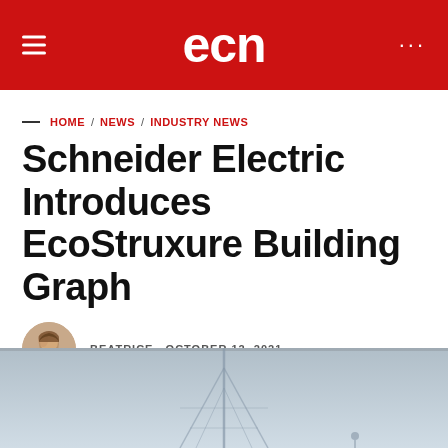ecn
HOME / NEWS / INDUSTRY NEWS
Schneider Electric Introduces EcoStruxure Building Graph
BEATRICE · OCTOBER 12, 2021
[Figure (photo): Aerial photo of building or tower structure against a grey sky, partially visible at bottom of page]